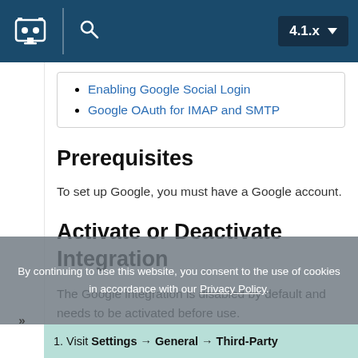4.1.x
Enabling Google Social Login
Google OAuth for IMAP and SMTP
Prerequisites
To set up Google, you must have a Google account.
Activate or Deactivate Integration
The Google integration is disabled by default and needs to be activated before use.
1. Visit Settings → General → Third-Party
By continuing to use this website, you consent to the use of cookies in accordance with our Privacy Policy.